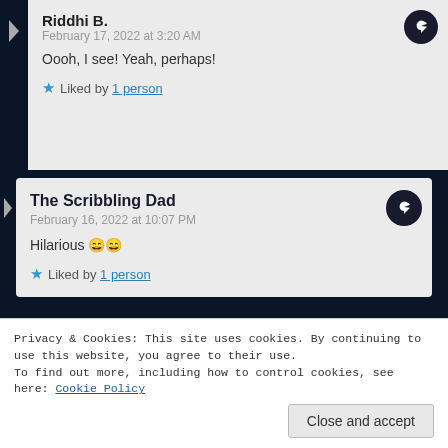Riddhi B. — February 17, 2022 at 3:20 AM
Oooh, I see! Yeah, perhaps!
Liked by 1 person
The Scribbling Dad — February 16, 2022 at 10:07 PM
Hilarious 😄😄
Liked by 1 person
Privacy & Cookies: This site uses cookies. By continuing to use this website, you agree to their use. To find out more, including how to control cookies, see here: Cookie Policy
Close and accept